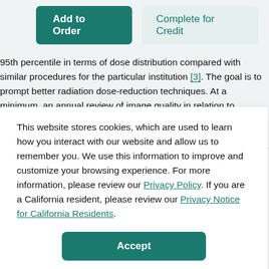[Figure (screenshot): Two buttons: 'Add to Order' (dark teal) and 'Complete for Credit' (light teal/gray)]
95th percentile in terms of dose distribution compared with similar procedures for the particular institution [3]. The goal is to prompt better radiation dose-reduction techniques. At a minimum, an annual review of image quality in relation to radiation dose should be performed as part of quality control programs for individual institutions.
This website stores cookies, which are used to learn how you interact with our website and allow us to remember you. We use this information to improve and customize your browsing experience. For more information, please review our Privacy Policy. If you are a California resident, please review our Privacy Notice for California Residents.
[Figure (screenshot): Accept button (dark teal, rounded)]
previous 60 days, follow-up should be performed at lower radiation doses.